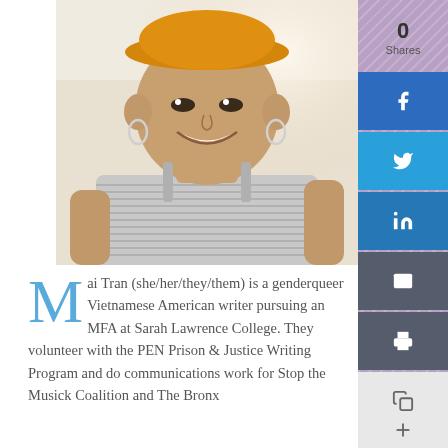[Figure (photo): Portrait photo of Mai Tran, a young Asian woman smiling, wearing an orange baseball cap and a grey striped spaghetti-strap top, against a light background.]
Mai Tran (she/her/they/them) is a genderqueer Vietnamese American writer pursuing an MFA at Sarah Lawrence College. They volunteer with the PEN Prison & Justice Writing Program and do communications work for Stop the Musick Coalition and The Bronx
0
Shares